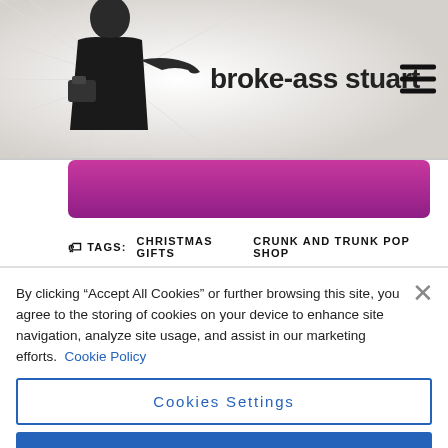broke-ass stuart
[Figure (illustration): Decorative header with person in black jacket making a gesture, with splatter/stain graphic and site title 'broke-ass stuart']
[Figure (illustration): Purple/magenta gradient banner bar]
TAGS:  CHRISTMAS GIFTS  CRUNK AND TRUNK POP SHOP
By clicking “Accept All Cookies” or further browsing this site, you agree to the storing of cookies on your device to enhance site navigation, analyze site usage, and assist in our marketing efforts. Cookie Policy
Cookies Settings
Reject All
Accept All Cookies